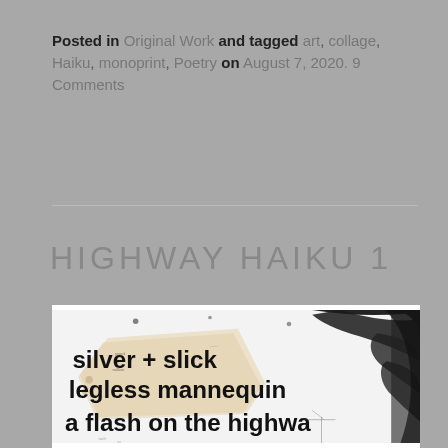Posted in Original Work and tagged art, collage, Haiku, monoprint, Poetry on August 7, 2020. 9 Comments
HIGHWAY HAIKU 1
[Figure (photo): A monoprint collage artwork showing torn newspaper and ink marks. Text visible: 'silver + slick', 'legless mannequin', 'a flash on the highwa' (cut off). Black brushstroke marks on upper right, collaged paper fragments.]